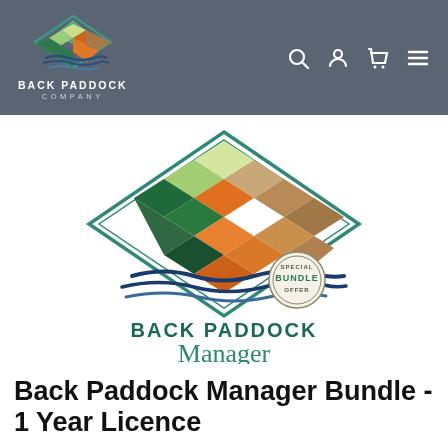Back Paddock Company
[Figure (logo): Back Paddock Manager product logo — diamond-shaped paddock grid with colored squares (green, light green, orange, brown tones) and wavy blue lines below, with a circular BUNDLE stamp, text reading BACK PADDOCK Manager]
Back Paddock Manager Bundle - 1 Year Licence